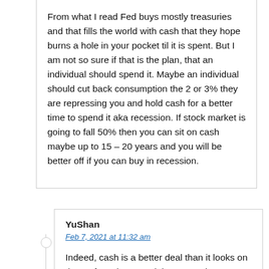From what I read Fed buys mostly treasuries and that fills the world with cash that they hope burns a hole in your pocket til it is spent. But I am not so sure if that is the plan, that an individual should spend it. Maybe an individual should cut back consumption the 2 or 3% they are repressing you and hold cash for a better time to spend it aka recession. If stock market is going to fall 50% then you can sit on cash maybe up to 15 – 20 years and you will be better off if you can buy in recession.
YuShan
Feb 7, 2021 at 11:32 am
Indeed, cash is a better deal than it looks on the surface, because it has an option